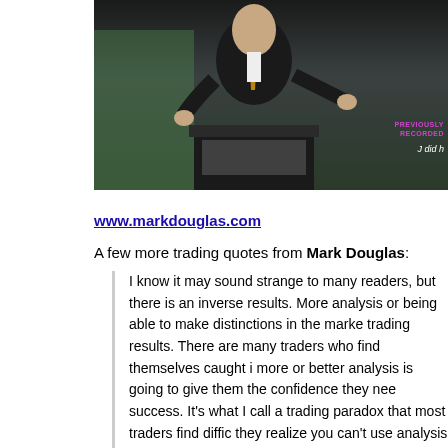[Figure (photo): Screenshot of a video (YouTube) showing a man in a dark suit standing at a podium/lectern, with a YouTube logo overlay at the top center. A 'PREVIOUSLY RECORDED' watermark appears in purple/pink at the bottom right, with text 'J did h' partially visible in white italic.]
www.markdouglas.com
A few more trading quotes from Mark Douglas:
I know it may sound strange to many readers, but there is an inverse results. More analysis or being able to make distinctions in the marke trading results. There are many traders who find themselves caught i more or better analysis is going to give them the confidence they nee success. It's what I call a trading paradox that most traders find diffic they realize you can't use analysis to overcome fear of being wrong Mark Douglas